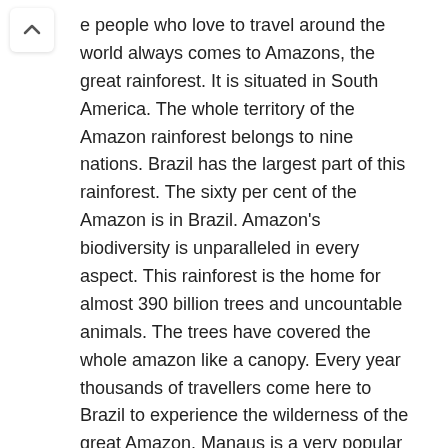e people who love to travel around the world always comes to Amazons, the great rainforest. It is situated in South America. The whole territory of the Amazon rainforest belongs to nine nations. Brazil has the largest part of this rainforest. The sixty per cent of the Amazon is in Brazil. Amazon's biodiversity is unparalleled in every aspect. This rainforest is the home for almost 390 billion trees and uncountable animals. The trees have covered the whole amazon like a canopy. Every year thousands of travellers come here to Brazil to experience the wilderness of the great Amazon. Manaus is a very popular destination for Amazon tours. There are many travel agencies who arranges Amazon tour. In order to get more detailed information regarding this search as Manaus Amazonas Tour.
These travel agencies provide their clients with all the facilities for touring around the Amazon. They arrange the transport, the food and also hotels for staying. Their package is also affordable. They give all the facilities to the